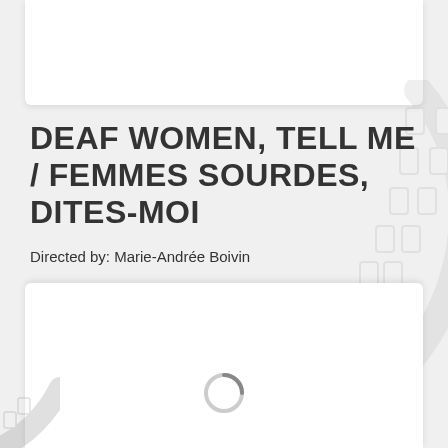DEAF WOMEN, TELL ME / FEMMES SOURDES, DITES-MOI
Directed by: Marie-Andrée Boivin
Read More »
[Figure (illustration): Film reel/strip watermark graphic in light gray, decorative background element]
[Figure (other): Loading spinner circle indicator at bottom center]